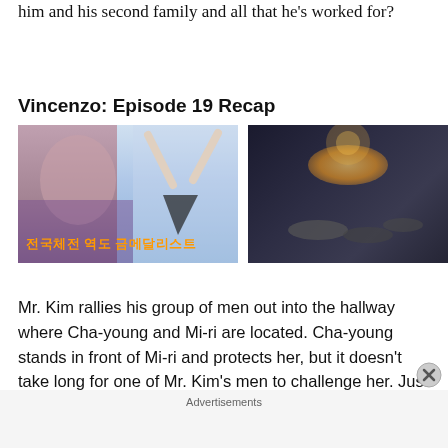him and his second family and all that he's worked for?
Vincenzo: Episode 19 Recap
[Figure (photo): Two women in a Korean drama scene — one closeup face on left, one with arms raised on right, with Korean orange text overlay reading '전국체전 역도 금메달리스트']
[Figure (photo): Dark nighttime outdoor scene with several people gathered on the ground, dimly lit with warm ambient light]
Mr. Kim rallies his group of men out into the hallway where Cha-young and Mi-ri are located. Cha-young stands in front of Mi-ri and protects her, but it doesn't take long for one of Mr. Kim's men to challenge her. Just when Cha-young is close to getting hit, Vincenzo comes to the rescue
Advertisements